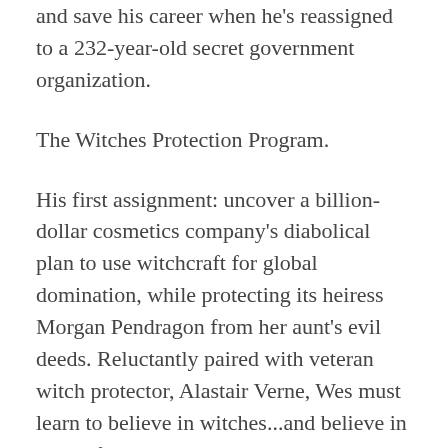and save his career when he's reassigned to a 232-year-old secret government organization.
The Witches Protection Program.
His first assignment: uncover a billion-dollar cosmetics company's diabolical plan to use witchcraft for global domination, while protecting its heiress Morgan Pendragon from her aunt's evil deeds. Reluctantly paired with veteran witch protector, Alastair Verne, Wes must learn to believe in witches...and believe in himself.
Filled with adventure and suspense, Michael Okon creates a rousing, tongue-in-cheek